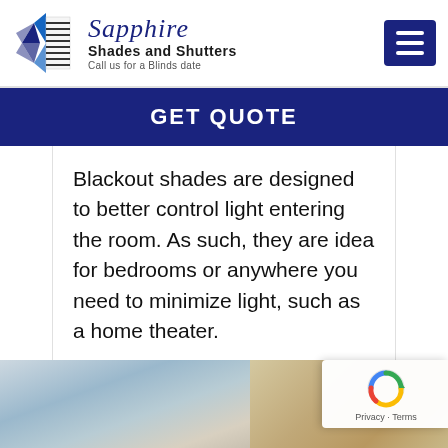[Figure (logo): Sapphire Shades and Shutters company logo with diamond geometric icon and script/bold text. Tagline: Call us for a Blinds date]
GET QUOTE
Blackout shades are designed to better control light entering the room. As such, they are idea for bedrooms or anywhere you need to minimize light, such as a home theater.
[Figure (photo): Bottom strip showing two photos of window blinds/shades installations]